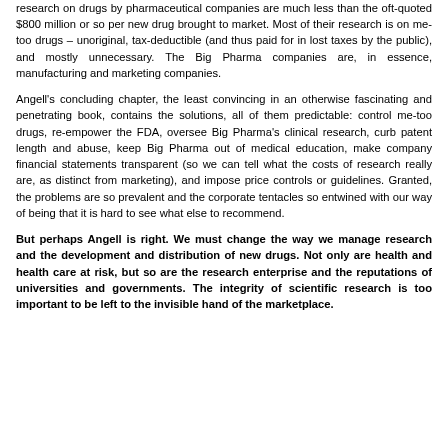research on drugs by pharmaceutical companies are much less than the oft-quoted $800 million or so per new drug brought to market. Most of their research is on me-too drugs – unoriginal, tax-deductible (and thus paid for in lost taxes by the public), and mostly unnecessary. The Big Pharma companies are, in essence, manufacturing and marketing companies.
Angell's concluding chapter, the least convincing in an otherwise fascinating and penetrating book, contains the solutions, all of them predictable: control me-too drugs, re-empower the FDA, oversee Big Pharma's clinical research, curb patent length and abuse, keep Big Pharma out of medical education, make company financial statements transparent (so we can tell what the costs of research really are, as distinct from marketing), and impose price controls or guidelines. Granted, the problems are so prevalent and the corporate tentacles so entwined with our way of being that it is hard to see what else to recommend.
But perhaps Angell is right. We must change the way we manage research and the development and distribution of new drugs. Not only are health and health care at risk, but so are the research enterprise and the reputations of universities and governments. The integrity of scientific research is too important to be left to the invisible hand of the marketplace.